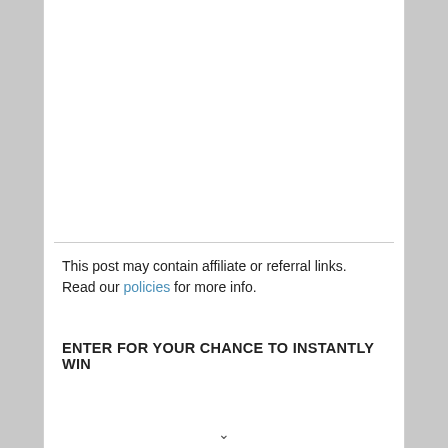This post may contain affiliate or referral links. Read our policies for more info.
ENTER FOR YOUR CHANCE TO INSTANTLY WIN